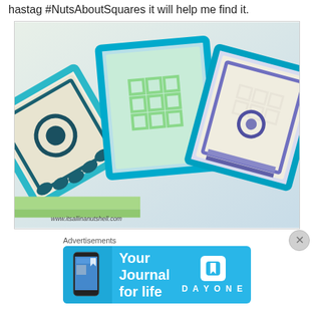hastag #NutsAboutSquares it will help me find it.
[Figure (photo): Three crocheted granny squares in shades of blue, teal, green and cream, with intricate patterns including textured flowers and lattice designs, overlapping each other. Watermark reads www.itsallinanutshell.com]
I hope to see all of you next week for part 2 of Nuts about Squares CAL...
Advertisements
[Figure (other): DayOne app advertisement banner with blue background, phone graphic on left, text 'Your Journal for life' in center, and DayOne logo on right]